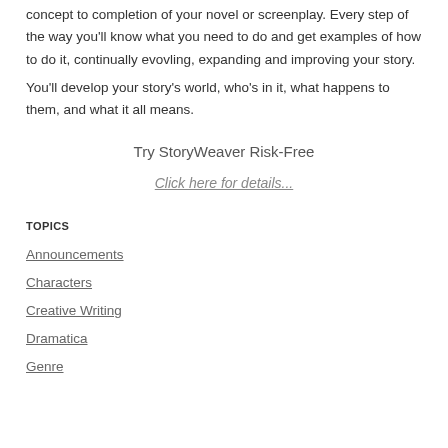concept to completion of your novel or screenplay. Every step of the way you'll know what you need to do and get examples of how to do it, continually evovling, expanding and improving your story.
You'll develop your story's world, who's in it, what happens to them, and what it all means.
Try StoryWeaver Risk-Free
Click here for details...
TOPICS
Announcements
Characters
Creative Writing
Dramatica
Genre